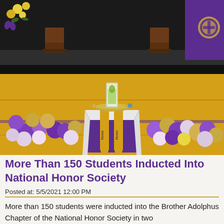[Figure (photo): A ceremonial table draped in purple and white cloth with gold/yellow stoles labeled 'Honor' hanging from the front, a candle in a glass cylinder on a gold plate on top, surrounded by purple, gold, and white balloons on a gymnasium floor. A stage with chairs and purple draping is visible in the background.]
More Than 150 Students Inducted Into National Honor Society
Posted at: 5/5/2021 12:00 PM
More than 150 students were inducted into the Brother Adolphus Chapter of the National Honor Society in two